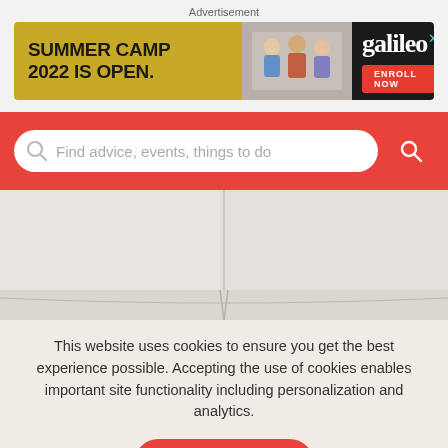Advertisement
[Figure (illustration): Advertisement banner for Galileo Summer Camp 2022 with yellow left panel text 'SUMMER CAMP 2022 IS OPEN.', center photo of students, and right dark panel with Galileo logo and 'ENROLL NOW' button]
[Figure (screenshot): Red search bar with white rounded input field showing placeholder text 'Find advice, events, things to do' and red circular search button on the right]
[Figure (photo): Close-up photo of a white/cream colored sofa back and cushions]
This website uses cookies to ensure you get the best experience possible. Accepting the use of cookies enables important site functionality including personalization and analytics.
Accept
Decline